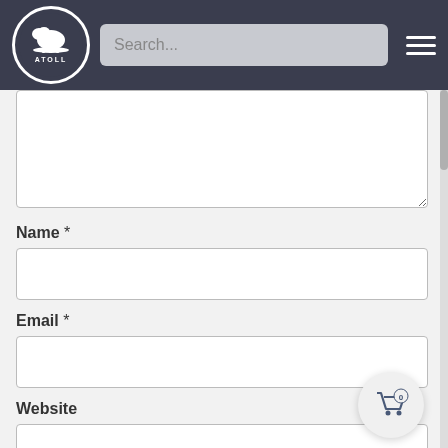[Figure (logo): Atoll brand logo - white bison on surfboard inside white circle on dark navy background, with ATOLL text below]
Search...
Name *
Email *
Website